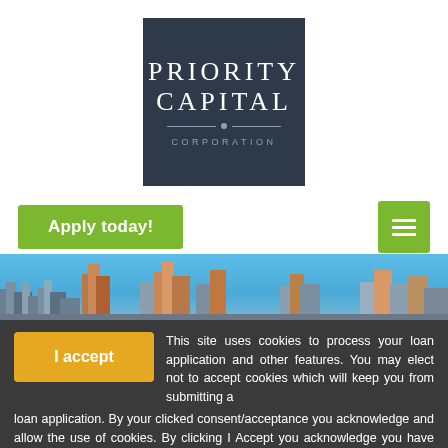[Figure (logo): Priority Capital Corporation logo: dark navy square with 'PRIORITY CAPITAL' in large white serif letters, a horizontal line with center dot, and 'CORPORATION' in spaced grey letters below]
Apply today!
[Figure (illustration): City skyline panorama photograph with blue sky background showing tall skyscrapers]
I accept
This site uses cookies to process your loan application and other features. You may elect not to accept cookies which will keep you from submitting a loan application. By your clicked consent/acceptance you acknowledge and allow the use of cookies. By clicking I Accept you acknowledge you have read and understand Priority Capital Corporation's Privacy Policy.